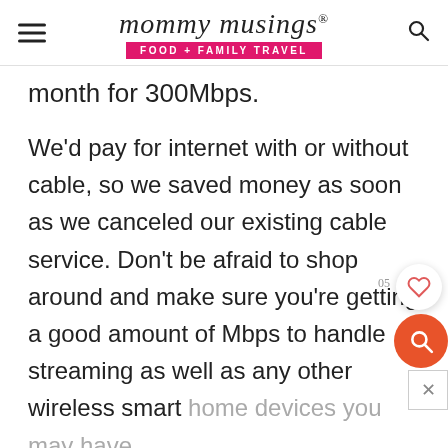mommy musings® FOOD + FAMILY TRAVEL
month for 300Mbps.
We'd pay for internet with or without cable, so we saved money as soon as we canceled our existing cable service. Don't be afraid to shop around and make sure you're getting a good amount of Mbps to handle streaming as well as any other wireless smart home devices you may have.